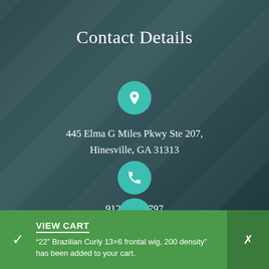Contact Details
445 Elma G Miles Pkwy Ste 207, Hinesville, GA 31313
912-877-7797
VIEW CART
"22" Brazilian Curly 13×6 frontal wig, 200 density" has been added to your cart.